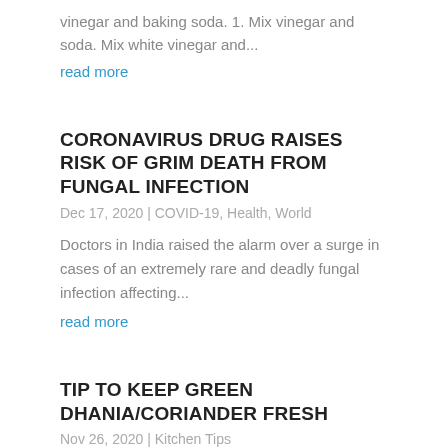vinegar and baking soda. 1. Mix vinegar and soda. Mix white vinegar and...
read more
CORONAVIRUS DRUG RAISES RISK OF GRIM DEATH FROM FUNGAL INFECTION
Dec 17, 2020 | COVID-19, Health, World
Doctors in India raised the alarm over a surge in cases of an extremely rare and deadly fungal infection affecting...
read more
TIP TO KEEP GREEN DHANIA/CORIANDER FRESH
Nov 26, 2020 | Kitchen Tips
COURTESY: NAVINDER KAUR I've tried so many tips to preserve my coriander, but nothing has worked. I'm